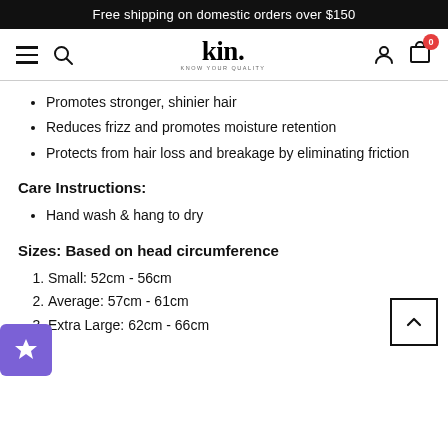Free shipping on domestic orders over $150
[Figure (screenshot): Navigation bar with hamburger menu, search icon, kin. brand logo, user icon, and cart icon with badge 0]
Promotes stronger, shinier hair
Reduces frizz and promotes moisture retention
Protects from hair loss and breakage by eliminating friction
Care Instructions:
Hand wash & hang to dry
Sizes: Based on head circumference
Small: 52cm - 56cm
Average: 57cm - 61cm
Extra Large: 62cm - 66cm